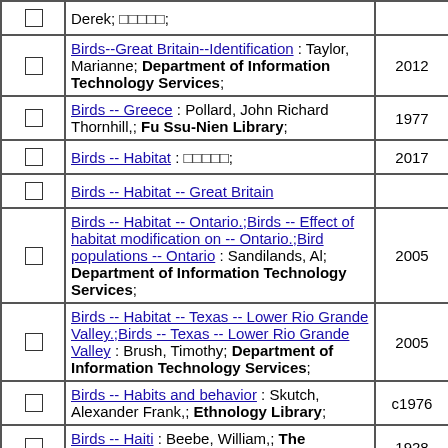|  | Description | Year | Count |
| --- | --- | --- | --- |
| ☐ | Derek; □□□□□; |  |  |
| ☐ | Birds--Great Britain--Identification : Taylor, Marianne; Department of Information Technology Services; | 2012 | 1 |
| ☐ | Birds -- Greece : Pollard, John Richard Thornhill,; Fu Ssu-Nien Library; | 1977 | 1 |
| ☐ | Birds -- Habitat : □□□□□; | 2017 | 1 |
| ☐ | Birds -- Habitat -- Great Britain |  | 2 |
| ☐ | Birds -- Habitat -- Ontario.;Birds -- Effect of habitat modification on -- Ontario.;Bird populations -- Ontario : Sandilands, Al; Department of Information Technology Services; | 2005 | 1 |
| ☐ | Birds -- Habitat -- Texas -- Lower Rio Grande Valley.;Birds -- Texas -- Lower Rio Grande Valley : Brush, Timothy; Department of Information Technology Services; | 2005 | 1 |
| ☐ | Birds -- Habits and behavior : Skutch, Alexander Frank,; Ethnology Library; | c1976 | 1 |
| ☐ | Birds -- Haiti : Beebe, William,; The Archives of ITH; | 1928 | 1 |
| ☐ | Birds -- Hawaii : Kear, Janet; Life Sci... | 1980 |  |